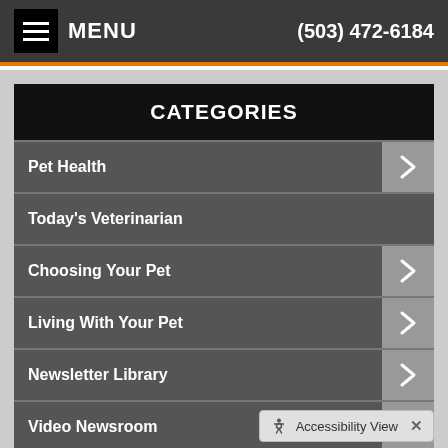MENU  (503) 472-6184
CATEGORIES
Pet Health
Today's Veterinarian
Choosing Your Pet
Living With Your Pet
Newsletter Library
Video Newsroom
Client Survey
Pets4Kids
Accessibility View